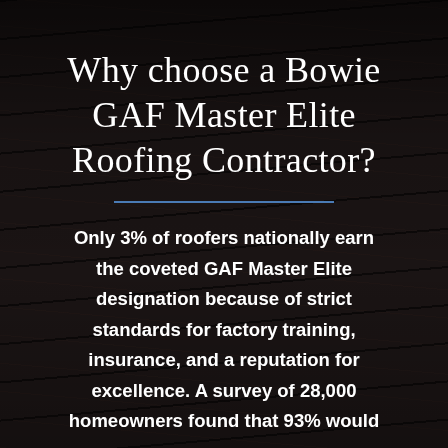Why choose a Bowie GAF Master Elite Roofing Contractor?
Only 3% of roofers nationally earn the coveted GAF Master Elite designation because of strict standards for factory training, insurance, and a reputation for excellence. A survey of 28,000 homeowners found that 93% would